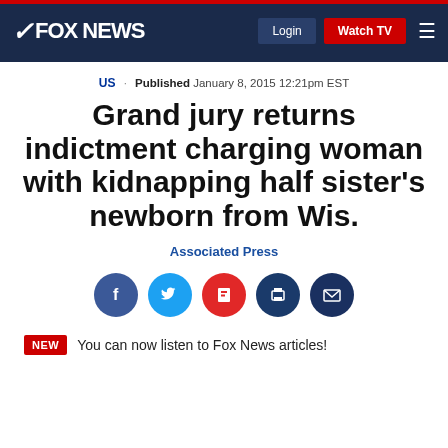FOX NEWS | Login | Watch TV
US · Published January 8, 2015 12:21pm EST
Grand jury returns indictment charging woman with kidnapping half sister's newborn from Wis.
Associated Press
[Figure (infographic): Social sharing icons: Facebook, Twitter, Flipboard, Print, Email]
NEW You can now listen to Fox News articles!